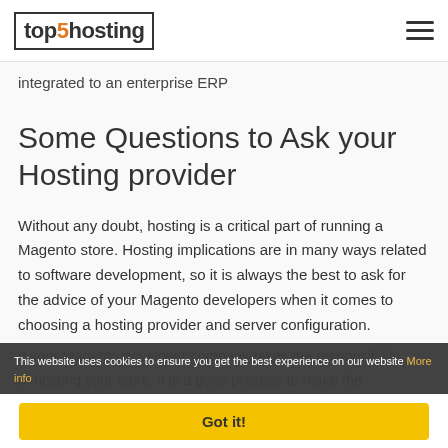top5hosting
integrated to an enterprise ERP
Some Questions to Ask your Hosting provider
Without any doubt, hosting is a critical part of running a Magento store. Hosting implications are in many ways related to software development, so it is always the best to ask for the advice of your Magento developers when it comes to choosing a hosting provider and server configuration.
If your Magento developer company takes the responsibility of hosting your store, it is a good practice to make the...
This website uses cookies to ensure you get the best experience on our website More info
Got it!